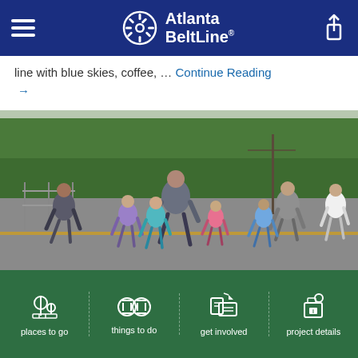Atlanta BeltLine
line with blue skies, coffee, … Continue Reading →
[Figure (photo): Group of adults and children running on a road during a race event, with trees in the background]
places to go | things to do | get involved | project details